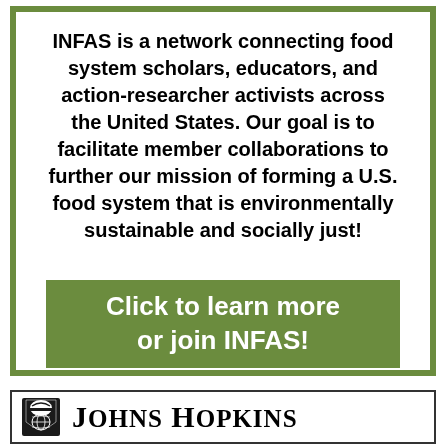INFAS is a network connecting food system scholars, educators, and action-researcher activists across the United States. Our goal is to facilitate member collaborations to further our mission of forming a U.S. food system that is environmentally sustainable and socially just!
Click to learn more or join INFAS!
[Figure (logo): Johns Hopkins University logo with shield emblem and text 'JOHNS HOPKINS']